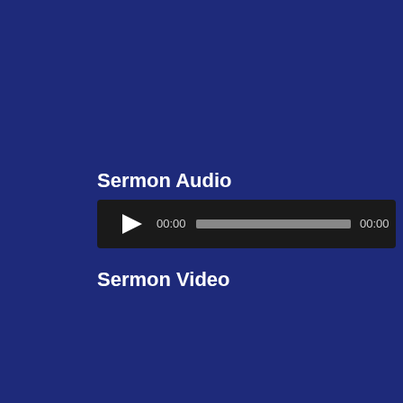Sermon Audio
[Figure (screenshot): Audio player widget with dark background, play button triangle, time display 00:00, progress bar (gray), and end time 00:00]
Sermon Video